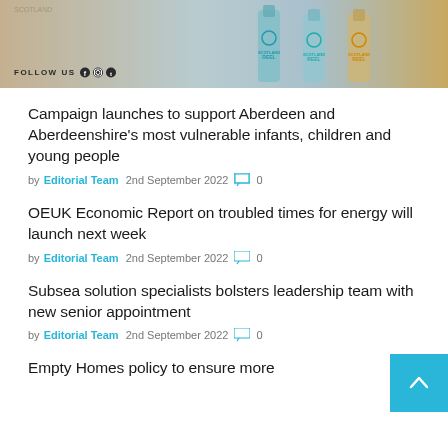[Figure (photo): Advertisement banner for Scotland Reel Gin showing bottles and a map of Scotland with 'FOLLOW US' and social media icons]
Campaign launches to support Aberdeen and Aberdeenshire's most vulnerable infants, children and young people
by Editorial Team  2nd September 2022  💬 0
OEUK Economic Report on troubled times for energy will launch next week
by Editorial Team  2nd September 2022  💬 0
Subsea solution specialists bolsters leadership team with new senior appointment
by Editorial Team  2nd September 2022  💬 0
Empty Homes policy to ensure more